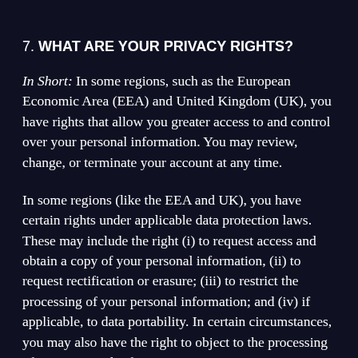7. WHAT ARE YOUR PRIVACY RIGHTS?
In Short:  In some regions, such as the European Economic Area (EEA) and United Kingdom (UK), you have rights that allow you greater access to and control over your personal information. You may review, change, or terminate your account at any time.
In some regions (like the EEA and UK), you have certain rights under applicable data protection laws. These may include the right (i) to request access and obtain a copy of your personal information, (ii) to request rectification or erasure; (iii) to restrict the processing of your personal information; and (iv) if applicable, to data portability. In certain circumstances, you may also have the right to object to the processing of your personal information. To